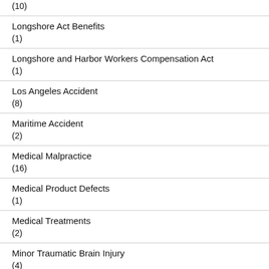(10)
Longshore Act Benefits
(1)
Longshore and Harbor Workers Compensation Act
(1)
Los Angeles Accident
(8)
Maritime Accident
(2)
Medical Malpractice
(16)
Medical Product Defects
(1)
Medical Treatments
(2)
Minor Traumatic Brain Injury
(4)